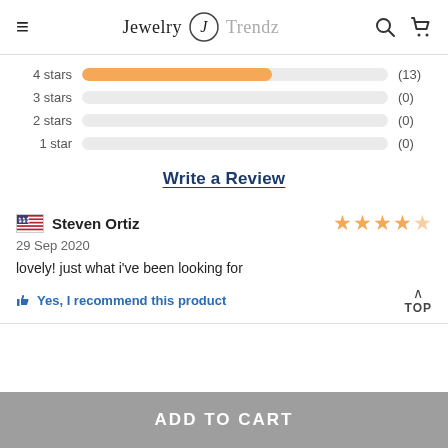Jewelry Trendz
[Figure (bar-chart): Star rating distribution]
Write a Review
Steven Ortiz
29 Sep 2020
lovely! just what i've been looking for
Yes, I recommend this product
ADD TO CART